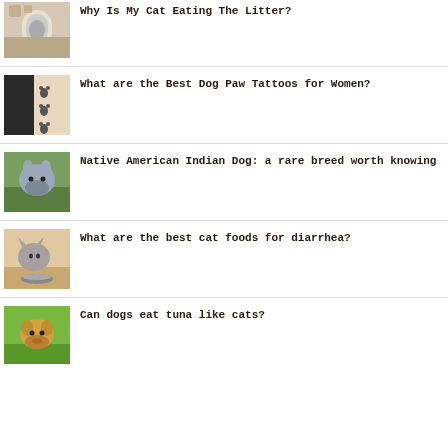[Figure (photo): Cat inside a self-cleaning litter box]
Why Is My Cat Eating The Litter?
[Figure (photo): Dog paw tattoos on a person's skin]
What are the Best Dog Paw Tattoos for Women?
[Figure (photo): Native American Indian Dog (husky-like breed) outdoors in grass]
Native American Indian Dog: a rare breed worth knowing
[Figure (photo): Cat eating from a metal bowl]
What are the best cat foods for diarrhea?
[Figure (photo): Golden Labrador dog outdoors on grass]
Can dogs eat tuna like cats?